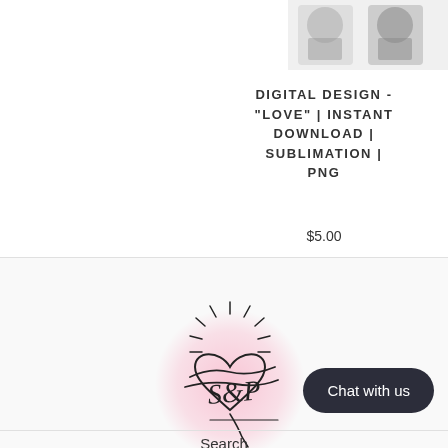[Figure (photo): Partial product thumbnail image showing digital design clipart in upper right corner]
DIGITAL DESIGN - "LOVE" | INSTANT DOWNLOAD | SUBLIMATION | PNG
$5.00
[Figure (logo): Brand logo with a heart and sun rays design with cursive script lettering on pink circular background]
Chat with us
Search